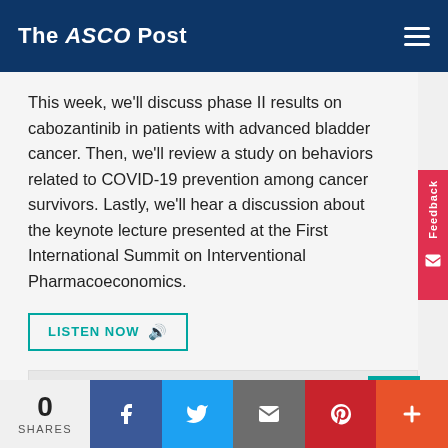The ASCO Post
This week, we'll discuss phase II results on cabozantinib in patients with advanced bladder cancer. Then, we'll review a study on behaviors related to COVID-19 prevention among cancer survivors. Lastly, we'll hear a discussion about the keynote lecture presented at the First International Summit on Interventional Pharmacoeconomics.
LISTEN NOW
GYNECOLOGIC CANCERS
SKIN CANCER
IMMUNOTHERAPY
COVID-19